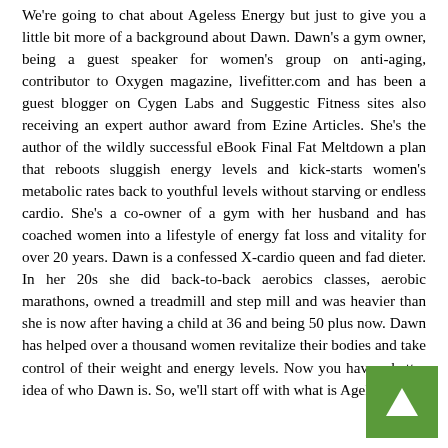We're going to chat about Ageless Energy but just to give you a little bit more of a background about Dawn. Dawn's a gym owner, being a guest speaker for women's group on anti-aging, contributor to Oxygen magazine, livefitter.com and has been a guest blogger on Cygen Labs and Suggestic Fitness sites also receiving an expert author award from Ezine Articles. She's the author of the wildly successful eBook Final Fat Meltdown a plan that reboots sluggish energy levels and kick-starts women's metabolic rates back to youthful levels without starving or endless cardio. She's a co-owner of a gym with her husband and has coached women into a lifestyle of energy fat loss and vitality for over 20 years. Dawn is a confessed X-cardio queen and fad dieter. In her 20s she did back-to-back aerobics classes, aerobic marathons, owned a treadmill and step mill and was heavier than she is now after having a child at 36 and being 50 plus now. Dawn has helped over a thousand women revitalize their bodies and take control of their weight and energy levels. Now you have a better idea of who Dawn is. So, we'll start off with what is Ageless Ene...